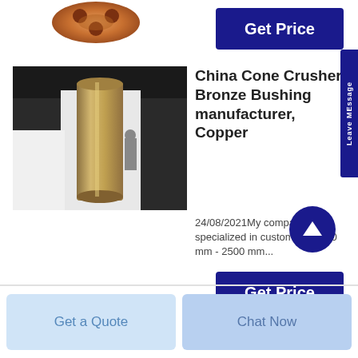[Figure (photo): Partial view of a copper circular flange or bushing part at the top of the page]
[Figure (other): Dark navy blue Get Price button at top right]
[Figure (photo): Photo of a cylindrical bronze/gold cone crusher bushing standing vertically in an industrial setting]
China Cone Crusher Bronze Bushing manufacturer, Copper
24/08/2021My company is specialized in custom made 50 mm - 2500 mm...
[Figure (other): Dark navy blue circular up-arrow navigation button]
[Figure (other): Dark navy blue Get Price button at bottom right]
[Figure (other): Light blue Get a Quote button at bottom left]
[Figure (other): Light blue Chat Now button at bottom right]